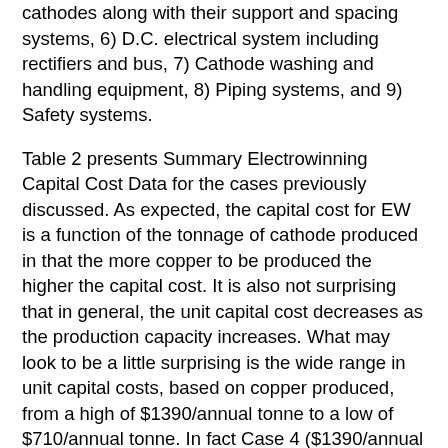cathodes along with their support and spacing systems, 6) D.C. electrical system including rectifiers and bus, 7) Cathode washing and handling equipment, 8) Piping systems, and 9) Safety systems.
Table 2 presents Summary Electrowinning Capital Cost Data for the cases previously discussed. As expected, the capital cost for EW is a function of the tonnage of cathode produced in that the more copper to be produced the higher the capital cost. It is also not surprising that in general, the unit capital cost decreases as the production capacity increases. What may look to be a little surprising is the wide range in unit capital costs, based on copper produced, from a high of $1390/annual tonne to a low of $710/annual tonne. In fact Case 4 ($1390/annual tonne Cu) is for an unusual situation because of climatic